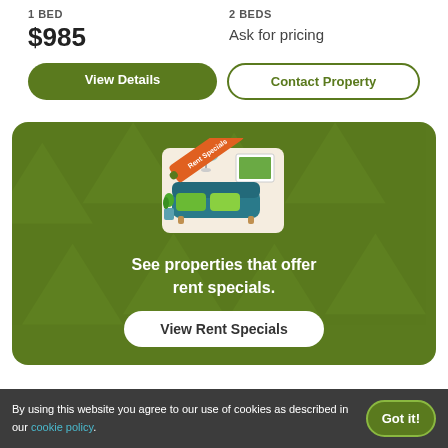1 BED
2 BEDS
$985
Ask for pricing
View Details
Contact Property
[Figure (illustration): Rent Specials promotional illustration showing a couch with plants in a living room scene, with an orange 'Rent Specials' ticket banner overlaid]
See properties that offer rent specials.
View Rent Specials
By using this website you agree to our use of cookies as described in our cookie policy.
Got it!